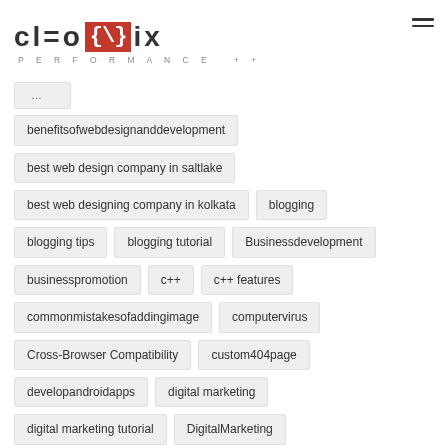[Figure (logo): Cleonix Technologies logo with red bracket box and tagline PERFORMANCE ++]
benefitsofwebdesignanddevelopment
best web design company in saltlake
best web designing company in kolkata
blogging
blogging tips
blogging tutorial
Businessdevelopment
businesspromotion
c++
c++ features
commonmistakesofaddingimage
computervirus
Cross-Browser Compatibility
custom404page
developandroidapps
digital marketing
digital marketing tutorial
DigitalMarketing